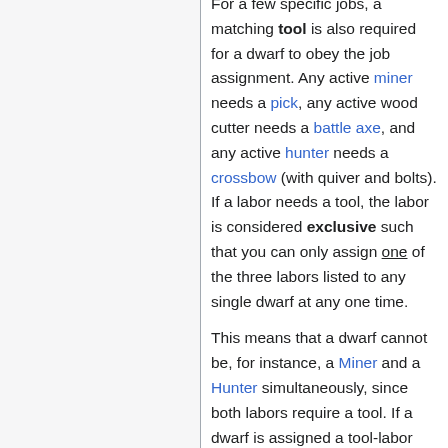For a few specific jobs, a matching tool is also required for a dwarf to obey the job assignment. Any active miner needs a pick, any active wood cutter needs a battle axe, and any active hunter needs a crossbow (with quiver and bolts). If a labor needs a tool, the labor is considered exclusive such that you can only assign one of the three labors listed to any single dwarf at any one time.
This means that a dwarf cannot be, for instance, a Miner and a Hunter simultaneously, since both labors require a tool. If a dwarf is assigned a tool-labor and another tool-labor was previously assigned to said dwarf, the (old) tool-labor is